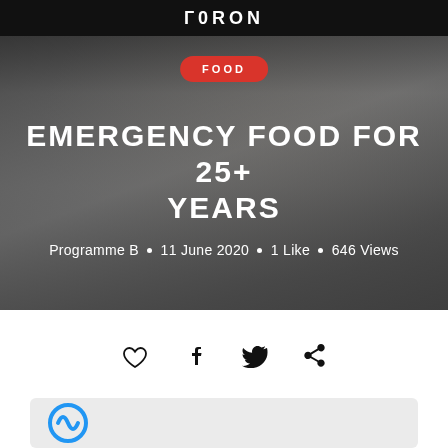AARON
[Figure (photo): Hero image showing a person sitting at a table in a modern kitchen/dining area, overlaid with dark semi-transparent gradient. Red 'FOOD' badge visible at top center. White bold title text 'EMERGENCY FOOD FOR 25+ YEARS' centered. Below: 'Programme B • 11 June 2020 • 1 Like • 646 Views']
EMERGENCY FOOD FOR 25+ YEARS
Programme B • 11 June 2020 • 1 Like • 646 Views
[Figure (infographic): Social sharing icons row: heart (like), Facebook, Twitter, Pinterest]
[Figure (logo): Partial blue circular logo at bottom left of a light grey card]